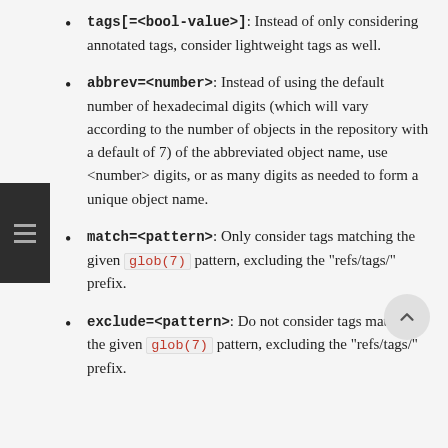tags[=<bool-value>]: Instead of only considering annotated tags, consider lightweight tags as well.
abbrev=<number>: Instead of using the default number of hexadecimal digits (which will vary according to the number of objects in the repository with a default of 7) of the abbreviated object name, use <number> digits, or as many digits as needed to form a unique object name.
match=<pattern>: Only consider tags matching the given glob(7) pattern, excluding the "refs/tags/" prefix.
exclude=<pattern>: Do not consider tags matching the given glob(7) pattern, excluding the "refs/tags/" prefix.